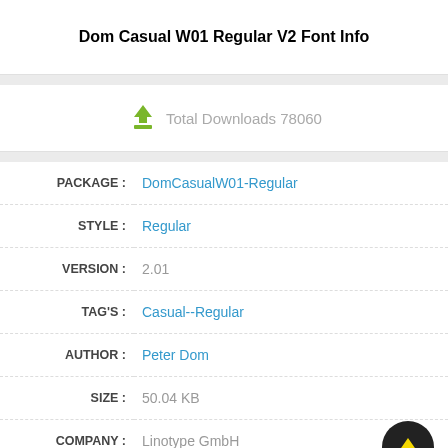Dom Casual W01 Regular V2 Font Info
Total Downloads 78060
| Field | Value |
| --- | --- |
| PACKAGE : | DomCasualW01-Regular |
| STYLE : | Regular |
| VERSION : | 2.01 |
| TAG'S : | Casual--Regular |
| AUTHOR : | Peter Dom |
| SIZE : | 50.04 KB |
| COMPANY : | Linotype GmbH |